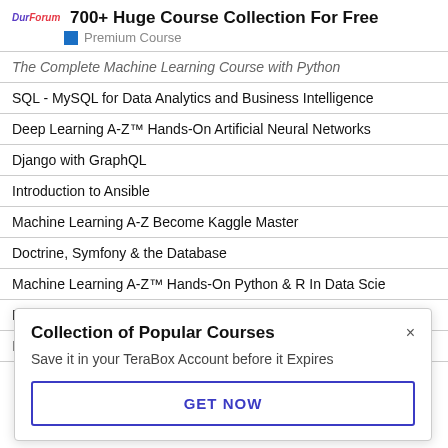700+ Huge Course Collection For Free
DurForum
Premium Course
| The Complete Machine Learning Course with Python |
| SQL - MySQL for Data Analytics and Business Intelligence |
| Deep Learning A-Z™ Hands-On Artificial Neural Networks |
| Django with GraphQL |
| Introduction to Ansible |
| Machine Learning A-Z Become Kaggle Master |
| Doctrine, Symfony & the Database |
| Machine Learning A-Z™ Hands-On Python & R In Data Scie |
| Programming Numerical Methods in Python |
| Python & LeetCode The Ultimate Interview BootCamp |
Collection of Popular Courses
Save it in your TeraBox Account before it Expires
GET NOW